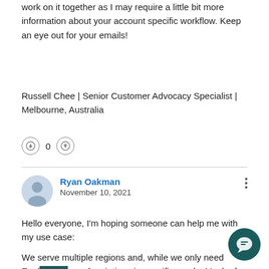work on it together as I may require a little bit more information about your account specific workflow. Keep an eye out for your emails!
Russell Chee | Senior Customer Advocacy Specialist | Melbourne, Australia
0
Ryan Oakman
November 10, 2021
Hello everyone, I'm hoping someone can help me with my use case:
We serve multiple regions and, while we only need Engl... need variations in specific words. Much of the content... center is the same and requires no translation. Is there ... allow for users to surface all content in the Zendesk default language, but to also then switch...